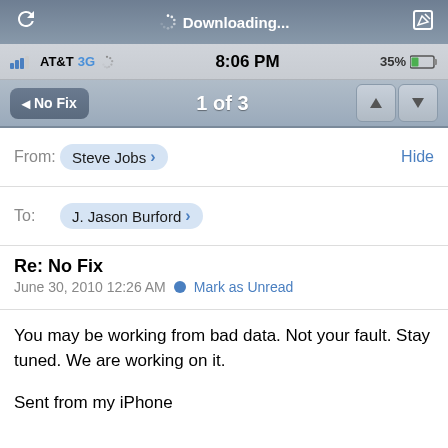[Figure (screenshot): iPhone email app screenshot showing a message from Steve Jobs to J. Jason Burford with subject 'Re: No Fix', dated June 30, 2010 12:26 AM. Status bar shows AT&T 3G, 8:06 PM, 35% battery. Navigation shows '1 of 3'. Message body: 'You may be working from bad data. Not your fault. Stay tuned. We are working on it. Sent from my iPhone']